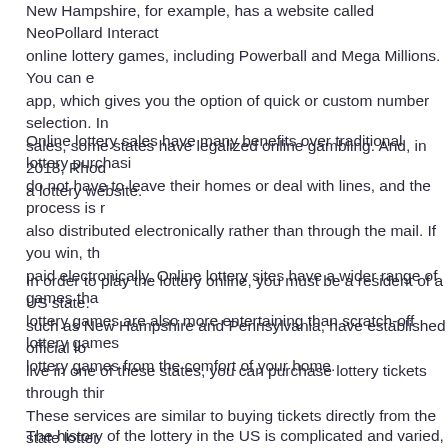New Hampshire, for example, has a website called NeoPollard Interact online lottery games, including Powerball and Mega Millions. You can e app, which gives you the option of quick or custom number selection. In sales, some states have legalized online gambling. And, in 2018, Rhod a lottery website.
Online lottery sales have many benefits over traditional lottery purchasi do not have to leave their homes or deal with lines, and the process is also distributed electronically rather than through the mail. If you win, th paid electronically. Online lottery sites have a wider range of games tha lottery games are also more entertaining than scratch-off lottery games lottery games from the comfort of your home.
In order to play the lottery online, you must be a resident of a US state. such as New Hampshire and Pennsylvania, have established official lo live in one of these states, you can purchase lottery tickets through thir These services are similar to buying tickets directly from the state lotter offer mobile applications as well. The best way to buy lottery tickets is t state lottery and select the state you wish to play in.
The history of the lottery in the US is complicated and varied, but can b